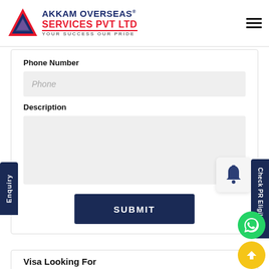[Figure (logo): Akkam Overseas Services Pvt Ltd logo with triangle icon and tagline YOUR SUCCESS OUR PRIDE]
Phone Number
Phone
Description
SUBMIT
Visa Looking For